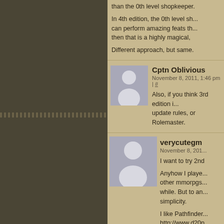than the 0th level shopkeeper.
In 4th edition, the 0th level sh... can perform amazing feats th... then that is a highly magical,
Different approach, but same.
Cptn Oblivious
November 8, 2011, 1:46 pm | #
Also, if you think 3rd edition i... update rules, or Rolemaster.
verycutegm
November 8, 201...
I want to try 2nd
Anyhow I playe... other mmorpgs... while. But to an... simplicity.
I like Pathfinder... http://www.d20p... include spells, d
Actually I think i... with level 0 cha